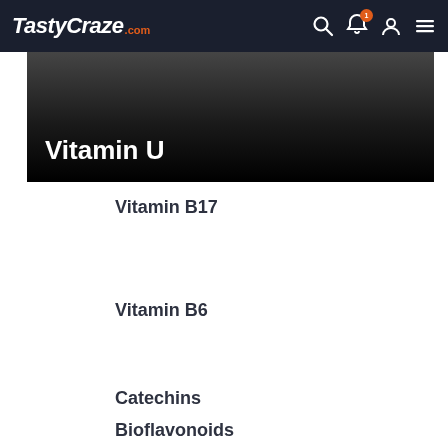TastyCraze.com
Vitamin U
Vitamin B17
Vitamin B6
Catechins
Bioflavonoids